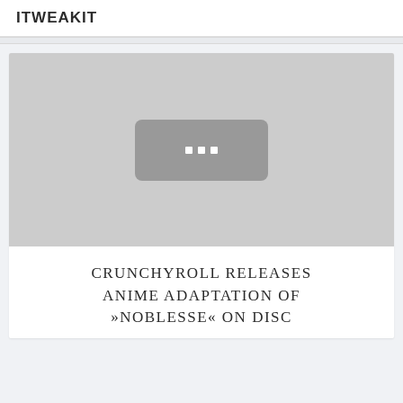ITWEAKIT
[Figure (illustration): Gray image placeholder with a darker rounded rectangle in the center containing three white dots, indicating a loading or placeholder image state.]
CRUNCHYROLL RELEASES ANIME ADAPTATION OF »NOBLESSE« ON DISC